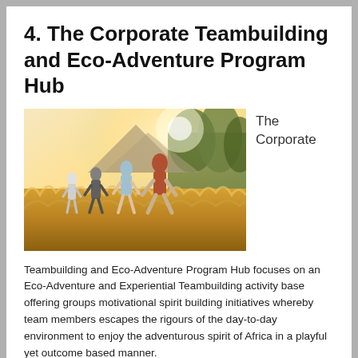4. The Corporate Teambuilding and Eco-Adventure Program Hub
[Figure (photo): Group of people hiking through golden grassland with mountains and sunlight in background]
The Corporate
Teambuilding and Eco-Adventure Program Hub focuses on an Eco-Adventure and Experiential Teambuilding activity base offering groups motivational spirit building initiatives whereby team members escapes the rigours of the day-to-day environment to enjoy the adventurous spirit of Africa in a playful yet outcome based manner.
A strong management team is an essential factor in the survival of any company. Experiential developmental teambuilding can and does provide powerful learning